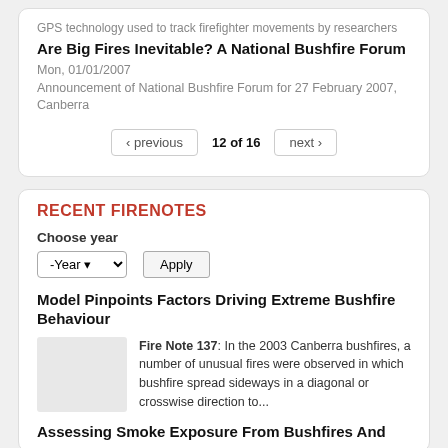GPS technology used to track firefighter movements by researchers
Are Big Fires Inevitable? A National Bushfire Forum
Mon, 01/01/2007
Announcement of National Bushfire Forum for 27 February 2007, Canberra
‹ previous   12 of 16   next ›
RECENT FIRENOTES
Choose year
Model Pinpoints Factors Driving Extreme Bushfire Behaviour
Fire Note 137: In the 2003 Canberra bushfires, a number of unusual fires were observed in which bushfire spread sideways in a diagonal or crosswise direction to...
Assessing Smoke Exposure From Bushfires And